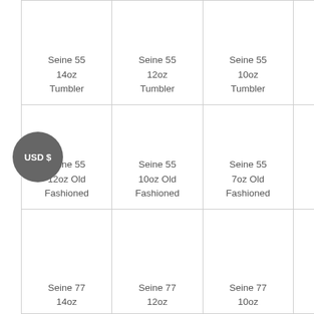| Seine 55 14oz Tumbler | Seine 55 12oz Tumbler | Seine 55 10oz Tumbler |
| Seine 55 12oz Old Fashioned | Seine 55 10oz Old Fashioned | Seine 55 7oz Old Fashioned |
| Seine 77 14oz | Seine 77 12oz | Seine 77 10oz |
USD $